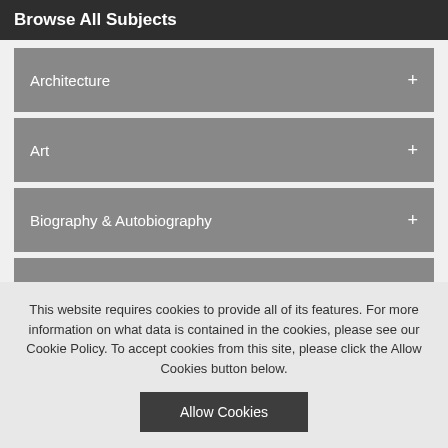Browse All Subjects
Architecture
Art
Biography & Autobiography
Body, Mind and Spirit
Business
This website requires cookies to provide all of its features. For more information on what data is contained in the cookies, please see our Cookie Policy. To accept cookies from this site, please click the Allow Cookies button below.
Allow Cookies